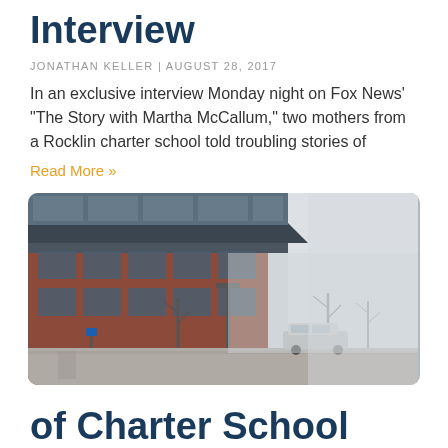Interview
JONATHAN KELLER | AUGUST 28, 2017
In an exclusive interview Monday night on Fox News' "The Story with Martha McCallum," two mothers from a Rocklin charter school told troubling stories of
Read More »
[Figure (photo): Photo of a brick school building in fog, with a car parked in front and trees in the background]
of Charter School